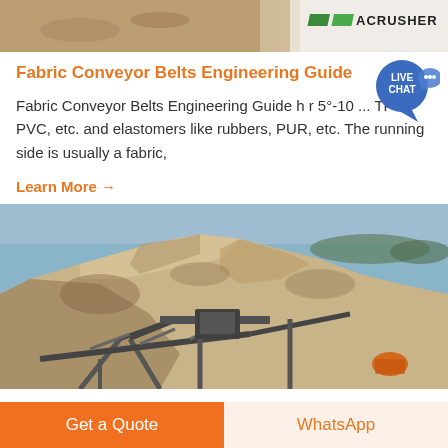[Figure (photo): Top banner photo of a sandy/earth terrain site with ACRUSHER logo on the right side]
Fabric Conveyor Belts Engineering Guide
Fabric Conveyor Belts Engineering Guide h r 5°-10 ... TPO, PVC, etc. and elastomers like rubbers, PUR, etc. The running side is usually a fabric,
Learn More →
[Figure (photo): Large quarry or mining site with a massive pile of excavated rock/earth and metal conveyor/screening equipment structures in the foreground]
Get a Quote
WhatsApp